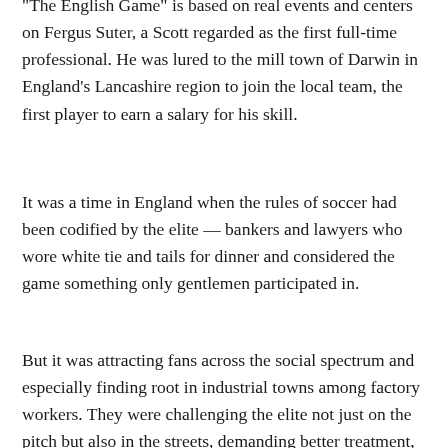"The English Game" is based on real events and centers on Fergus Suter, a Scott regarded as the first full-time professional. He was lured to the mill town of Darwin in England's Lancashire region to join the local team, the first player to earn a salary for his skill.
It was a time in England when the rules of soccer had been codified by the elite — bankers and lawyers who wore white tie and tails for dinner and considered the game something only gentlemen participated in.
But it was attracting fans across the social spectrum and especially finding root in industrial towns among factory workers. They were challenging the elite not just on the pitch but also in the streets, demanding better treatment, higher wages and unions.
What Fellowes found was that social changes in Britain at the